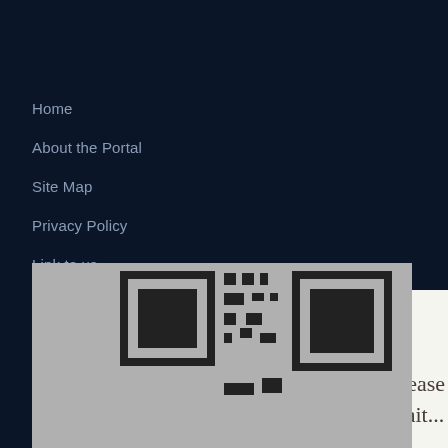Home
About the Portal
Site Map
Privacy Policy
Link to us
FAQs
Linking Policy
Terms of Use
Help
Contact Us
Copyright Policy
[Figure (other): White box with 'Please wait...' text overlay on dark blue background]
[Figure (other): QR code partially visible at bottom of page on gray background]